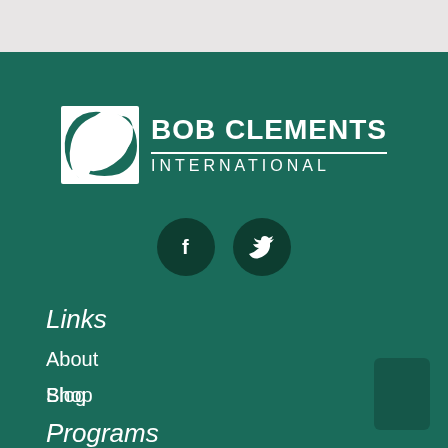[Figure (logo): Bob Clements International logo with white icon of a stylized letter C/swoosh inside a square, and bold white text BOB CLEMENTS with INTERNATIONAL beneath a divider line, on a dark teal/green background]
[Figure (other): Two circular dark teal social media icon buttons: Facebook (f) and Twitter (bird), centered on the green background]
Links
About
Blog
Shop
Programs